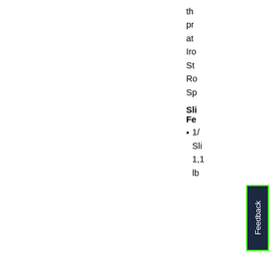th
pr
at
Iro
St
Ro
Sp
Sli
Fe
1/
Sli
1,1
lb
[Figure (other): Feedback tab button on right side, dark navy background with green border, white vertical text reading 'Feedback']